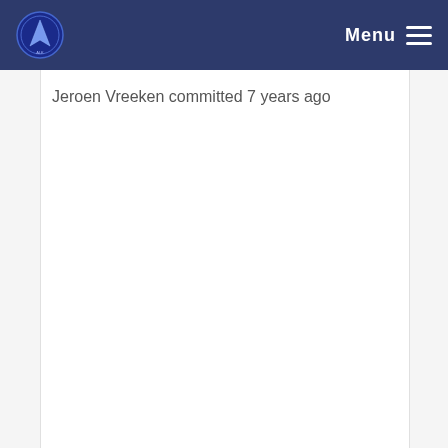Menu
Jeroen Vreeken committed 7 years ago